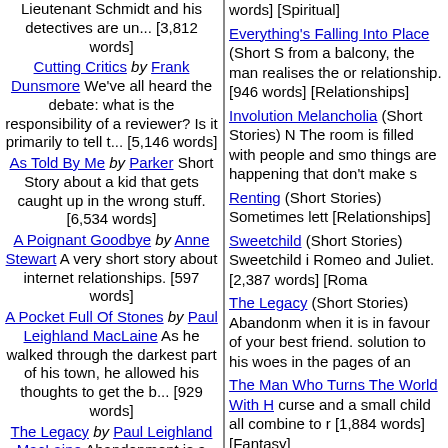Lieutenant Schmidt and his detectives are un... [3,812 words]
Cutting Critics by Frank Dunsmore We've all heard the debate: what is the responsibility of a reviewer? Is it primarily to tell t... [5,146 words]
As Told By Me by Parker Short Story about a kid that gets caught up in the wrong stuff. [6,534 words]
A Poignant Goodbye by Anne Stewart A very short story about internet relationships. [597 words]
A Pocket Full Of Stones by Paul Leighland MacLaine As he walked through the darkest part of his town, he allowed his thoughts to get the b... [929 words]
The Legacy by Paul Leighland MacLaine Abandonment is a terrible way to end a relationship, especially when it is in favour of your best fr... [3,561 words]
The Cool Clique by Pearl S l
Everything's Falling Into Place (Short S from a balcony, the man realises the or relationship. [946 words] [Relationships]
Involution Melancholia (Short Stories) N The room is filled with people and smo things are happening that don't make s
Renting (Short Stories) Sometimes lett [Relationships]
Sweetchild (Short Stories) Sweetchild i Romeo and Juliet. [2,387 words] [Roma
The Legacy (Short Stories) Abandonm when it is in favour of your best friend. solution to his woes in the pages of an
The Man Who Turns The World With H curse and a small child all combine to r [1,884 words] [Fantasy]
The Spirit Tree (Short Stories) A small discovers a magic tree, and a miracle c
Submit Your Review for
Required fi
Your e-mail ac
Your Name*
City